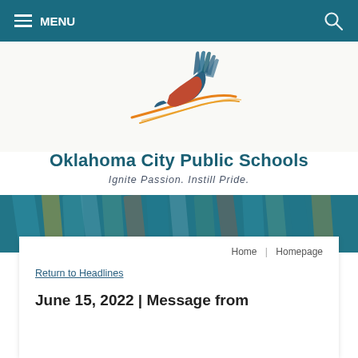MENU
[Figure (logo): Oklahoma City Public Schools bird logo — stylized hummingbird/swallow with teal body and red-orange wing with book-like tail feathers, orange streak line below]
Oklahoma City Public Schools
Ignite Passion. Instill Pride.
[Figure (photo): Background photo of colorful pencils or similar school supplies in teal/blue tones]
Home | Homepage
Return to Headlines
June 15, 2022 | Message from